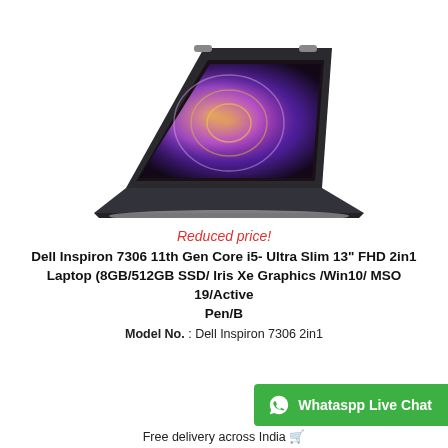[Figure (photo): Dell Inspiron 7306 2-in-1 laptop opened in tent mode with colorful purple/orange display showing on screen, dark grey body]
Reduced price!
Dell Inspiron 7306 11th Gen Core i5- Ultra Slim 13" FHD 2in1 Laptop (8GB/512GB SSD/ Iris Xe Graphics /Win10/ MSO 19/Active Pen/B
Model No. : Dell Inspiron 7306 2in1
Whatsapp Live Chat
Free delivery across India